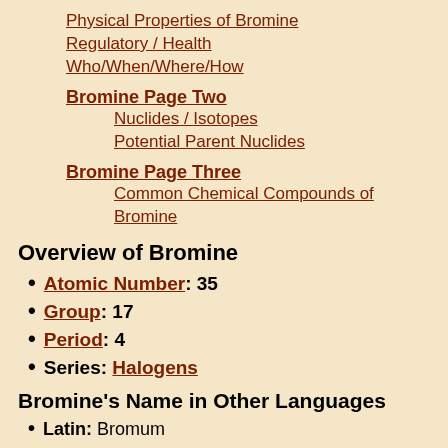Physical Properties of Bromine
Regulatory / Health
Who/When/Where/How
Bromine Page Two
Nuclides / Isotopes
Potential Parent Nuclides
Bromine Page Three
Common Chemical Compounds of Bromine
Overview of Bromine
Atomic Number: 35
Group: 17
Period: 4
Series: Halogens
Bromine's Name in Other Languages
Latin: Bromum